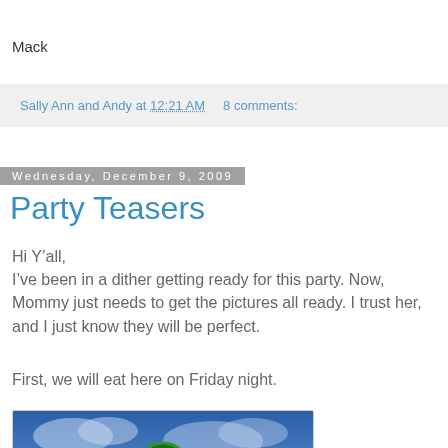Mack
Sally Ann and Andy at 12:21 AM     8 comments:
Wednesday, December 9, 2009
Party Teasers
Hi Y’all,
I’ve been in a dither getting ready for this party. Now, Mommy just needs to get the pictures all ready. I trust her, and I just know they will be perfect.
First, we will eat here on Friday night.
[Figure (photo): Photo of a pizza restaurant sign against a cloudy blue sky, showing a circular green pizza logo with text PIZZA]